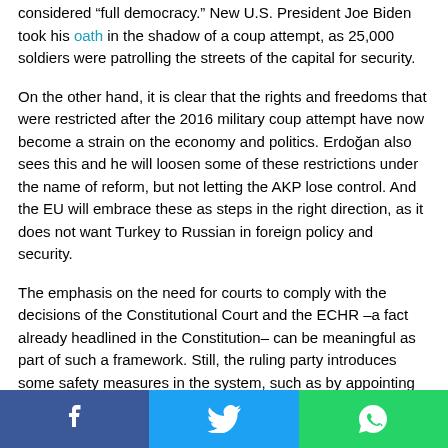considered “full democracy.” New U.S. President Joe Biden took his oath in the shadow of a coup attempt, as 25,000 soldiers were patrolling the streets of the capital for security.
On the other hand, it is clear that the rights and freedoms that were restricted after the 2016 military coup attempt have now become a strain on the economy and politics. Erdoğan also sees this and he will loosen some of these restrictions under the name of reform, but not letting the AKP lose control. And the EU will embrace these as steps in the right direction, as it does not want Turkey to Russian in foreign policy and security.
The emphasis on the need for courts to comply with the decisions of the Constitutional Court and the ECHR –a fact already headlined in the Constitution– can be meaningful as part of such a framework. Still, the ruling party introduces some safety measures in the system, such as by appointing İrfan
[Figure (infographic): Social sharing bar with Facebook, Twitter, and WhatsApp buttons]